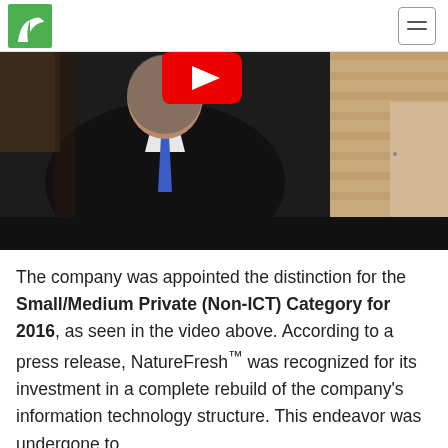NatureFresh logo and navigation menu
[Figure (photo): Video thumbnail showing a man in a dark suit with a blue tie, seated against a brick wall background. A red YouTube play button icon is visible at the top center of the video.]
The company was appointed the distinction for the Small/Medium Private (Non-ICT) Category for 2016, as seen in the video above. According to a press release, NatureFresh™ was recognized for its investment in a complete rebuild of the company's information technology structure. This endeavor was undergone to